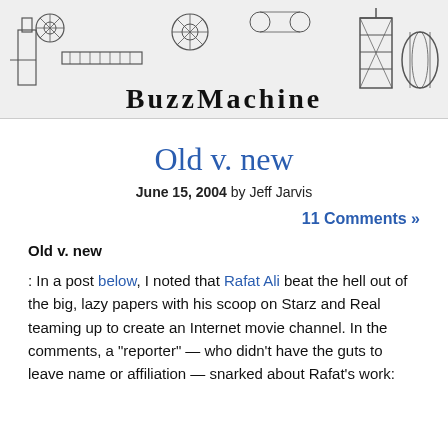[Figure (illustration): BuzzMachine blog header banner with vintage industrial machinery illustration and the text 'BuzzMachine' in stylized lettering]
Old v. new
June 15, 2004 by Jeff Jarvis
11 Comments »
Old v. new
: In a post below, I noted that Rafat Ali beat the hell out of the big, lazy papers with his scoop on Starz and Real teaming up to create an Internet movie channel. In the comments, a "reporter" — who didn't have the guts to leave name or affiliation — snarked about Rafat's work: